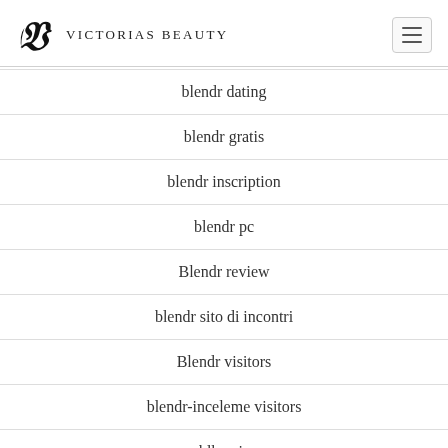Victorias Beauty
blendr dating
blendr gratis
blendr inscription
blendr pc
Blendr review
blendr sito di incontri
Blendr visitors
blendr-inceleme visitors
blk avis